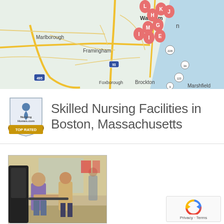[Figure (map): Google Maps view showing the Greater Boston, Massachusetts area with labeled map pins (letters E, G, H, I, J, K, L, M) clustered near Boston. Cities visible include Marlborough, Waltham, Framingham, Foxborough, Brockton, Marshfield. Routes 495, 93, 228, 123, 3, 3A visible.]
[Figure (logo): NursingHomes.com Top Rated badge — shield shape with location pin icon, text 'Nursing Homes.com' and gold ribbon banner reading 'TOP RATED']
Skilled Nursing Facilities in Boston, Massachusetts
[Figure (photo): Photo of two women in a rehabilitation/gym setting, one in purple scrubs using exercise equipment, another assisting her. Mirrors and equipment visible in background.]
[Figure (other): reCAPTCHA widget showing spinning arrows icon with 'Privacy · Terms' text below]